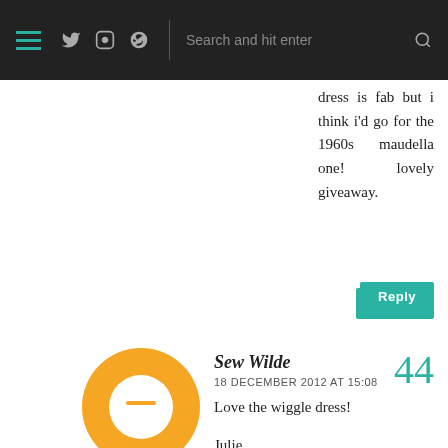☰ Twitter Instagram Pinterest | Search and hit enter 🔍
dress is fab but i think i'd go for the 1960s maudella one! lovely giveaway.
Reply
Sew Wilde
18 DECEMBER 2012 AT 15:08
Love the wiggle dress!

Julie
44
Reply
Alicia
18 DECEMBER 2012 AT 23:21
The wiggle dress is lovely but I think that I'd prefer the 1960s pattern since I really like
45